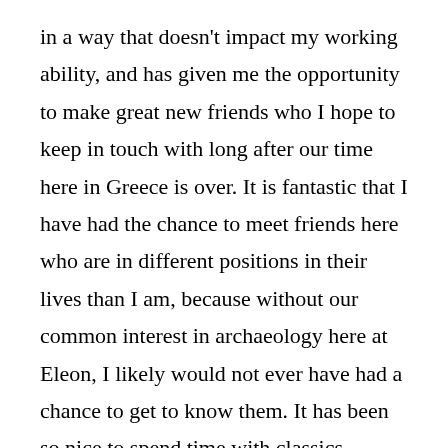in a way that doesn't impact my working ability, and has given me the opportunity to make great new friends who I hope to keep in touch with long after our time here in Greece is over. It is fantastic that I have had the chance to meet friends here who are in different positions in their lives than I am, because without our common interest in archaeology here at Eleon, I likely would not ever have had a chance to get to know them. It has been so nice to spend time with classics professionals, graduate students and professors in a more casual environment that doesn't feel so segregated by hierarchy the way university settings often do. By not feeling intimidated by my